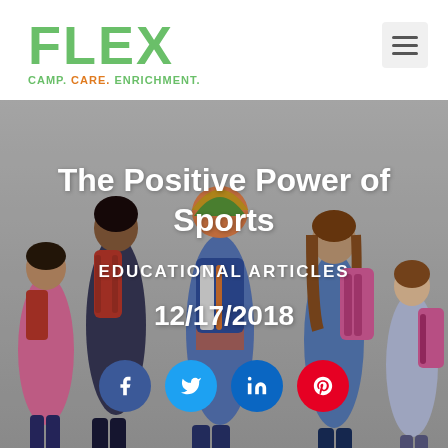FLEX — CAMP. CARE. ENRICHMENT.
[Figure (photo): Five children standing with their backs to the camera, wearing backpacks in a studio with a grey background. Hero image for blog article.]
The Positive Power of Sports
EDUCATIONAL ARTICLES
12/17/2018